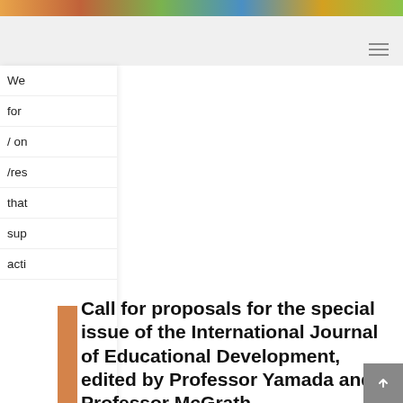[Figure (screenshot): Colorful top banner strip with photo collage]
Navigation bar with hamburger menu icon
We
for
/ on
/res
that
sup
acti
Call for proposals for the special issue of the International Journal of Educational Development, edited by Professor Yamada and Professor McGrath
.06.17
are pleased to announce the call for proposals for the special issue of the International Journal of